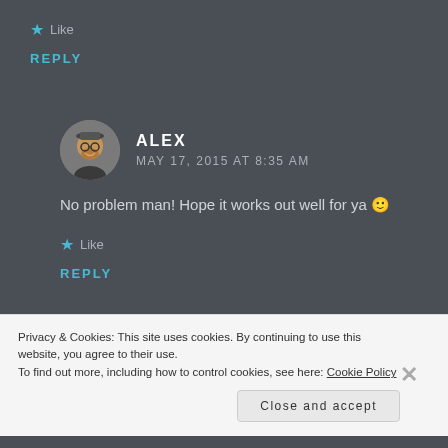★ Like
REPLY
[Figure (photo): Round avatar photo of Alex, a man with glasses and a beard, wearing a hat]
ALEX
MAY 17, 2015 AT 8:35 AM
No problem man! Hope it works out well for ya 🙂
★ Like
REPLY
Privacy & Cookies: This site uses cookies. By continuing to use this website, you agree to their use.
To find out more, including how to control cookies, see here: Cookie Policy
Close and accept